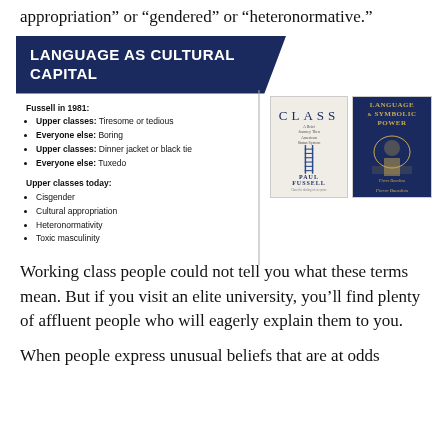appropriation” or “gendered” or “heteronormative.”
[Figure (infographic): Infographic panel titled 'LANGUAGE AS CULTURAL CAPITAL' with dark blue banner and diagonal cut. Lists Fussell in 1981 bullet points (Upper classes: Tiresome or tedious, Everyone else: Boring, Upper classes: Dinner jacket or black tie, Everyone else: Tuxedo) and Upper classes today bullet points (Cisgender, Cultural appropriation, Heteronormativity, Toxic masculinity). Two book covers shown: 'CLASS' by Paul Fussell and 'Language & Symbolic Power' by Pierre Bourdieu. A diagonal line crosses the panel.]
Working class people could not tell you what these terms mean. But if you visit an elite university, you’ll find plenty of affluent people who will eagerly explain them to you.
When people express unusual beliefs that are at odds